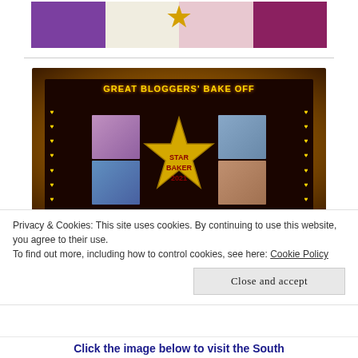[Figure (photo): Top banner image showing baking/celebration scene with purple, cream, and pink sections and a gold star]
[Figure (photo): Great Bloggers' Bake Off Star Baker 2021 promotional image with dark frame, gold hearts, large gold star, and family baking photos]
Privacy & Cookies: This site uses cookies. By continuing to use this website, you agree to their use.
To find out more, including how to control cookies, see here: Cookie Policy
Close and accept
Click the image below to visit the South